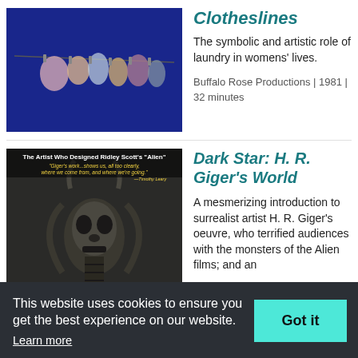[Figure (photo): Photo of colorful clothing hanging on a clothesline against a deep blue sky]
Clotheslines
The symbolic and artistic role of laundry in womens' lives.
Buffalo Rose Productions | 1981 | 32 minutes
[Figure (photo): Movie poster for Dark Star: H. R. Giger's World showing surrealist alien artwork with text 'The Artist Who Designed Ridley Scott's Alien' and a quote by Timothy Leary]
Dark Star: H. R. Giger's World
A mesmerizing introduction to surrealist artist H. R. Giger's oeuvre, who terrified audiences with the monsters of the Alien films; and an
This website uses cookies to ensure you get the best experience on our website.
Learn more
Got it